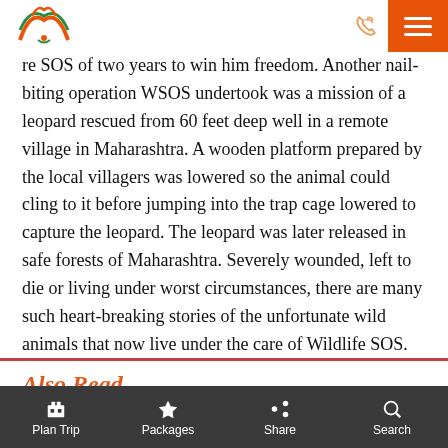Travel website navigation bar with logo and menu
re SOS of two years to win him freedom. Another nail-biting operation WSOS undertook was a mission of a leopard rescued from 60 feet deep well in a remote village in Maharashtra. A wooden platform prepared by the local villagers was lowered so the animal could cling to it before jumping into the trap cage lowered to capture the leopard. The leopard was later released in safe forests of Maharashtra. Severely wounded, left to die or living under worst circumstances, there are many such heart-breaking stories of the unfortunate wild animals that now live under the care of Wildlife SOS.
Also Read
Plan Trip | Packages | Share | Search